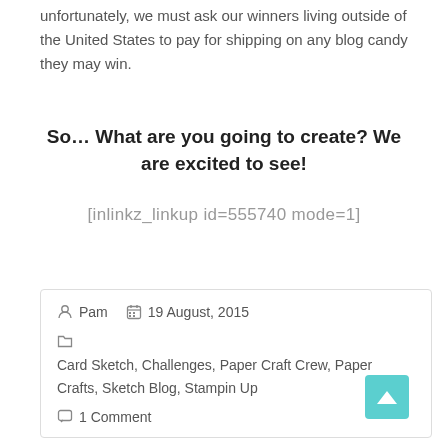unfortunately, we must ask our winners living outside of the United States to pay for shipping on any blog candy they may win.
So… What are you going to create? We are excited to see!
[inlinkz_linkup id=555740 mode=1]
Pam   19 August, 2015   Card Sketch, Challenges, Paper Craft Crew, Paper Crafts, Sketch Blog, Stampin Up   1 Comment